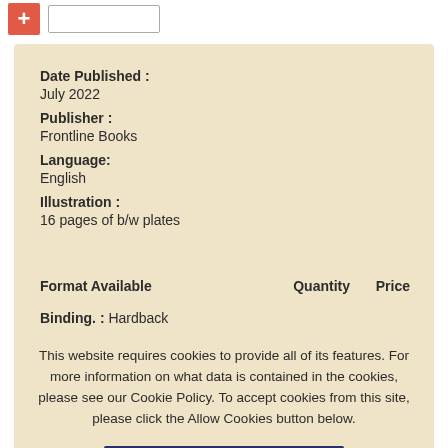[Figure (other): Red plus button and empty input box in top bar]
Date Published :
July 2022
Publisher :
Frontline Books
Language:
English
Illustration :
16 pages of b/w plates
Format Available    Quantity    Price
Binding. : Hardback
This website requires cookies to provide all of its features. For more information on what data is contained in the cookies, please see our Cookie Policy. To accept cookies from this site, please click the Allow Cookies button below.
Allow Cookies